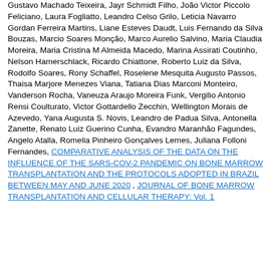Gustavo Machado Teixeira, Jayr Schmidt Filho, João Victor Piccolo Feliciano, Laura Fogliatto, Leandro Celso Grilo, Leticia Navarro Gordan Ferreira Martins, Liane Esteves Daudt, Luis Fernando da Silva Bouzas, Marcio Soares Monção, Marco Aurelio Salvino, Maria Claudia Moreira, Maria Cristina M Almeida Macedo, Marina Assirati Coutinho, Nelson Hamerschlack, Ricardo Chiattone, Roberto Luiz da Silva, Rodolfo Soares, Rony Schaffel, Roselene Mesquita Augusto Passos, Thaisa Marjore Menezes Viana, Tatiana Dias Marconi Monteiro, Vanderson Rocha, Vaneuza Araujo Moreira Funk, Vergilio Antonio Rensi Coulturato, Victor Gottardello Zecchin, Wellington Morais de Azevedo, Yana Augusta S. Novis, Leandro de Padua Silva, Antonella Zanette, Renato Luiz Guerino Cunha, Evandro Maranhão Fagundes, Angelo Atalla, Romelia Pinheiro Gonçalves Lemes, Juliana Folloni Fernandes, COMPARATIVE ANALYSIS OF THE DATA ON THE INFLUENCE OF THE SARS-COV-2 PANDEMIC ON BONE MARROW TRANSPLANTATION AND THE PROTOCOLS ADOPTED IN BRAZIL BETWEEN MAY AND JUNE 2020 , JOURNAL OF BONE MARROW TRANSPLANTATION AND CELLULAR THERAPY: Vol. 1